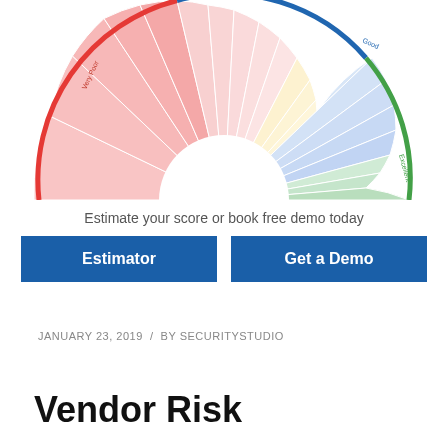[Figure (other): Semi-circular gauge/fan chart showing risk score bands from Very Poor (red, left) through Poor, Fair, Good (blue, top right) to Excellent (green, right). Multiple thin radial segments create a fan shape covering 180 degrees.]
Estimate your score or book free demo today
Estimator
Get a Demo
JANUARY 23, 2019  /  BY SECURITYSTUDIO
Vendor Risk